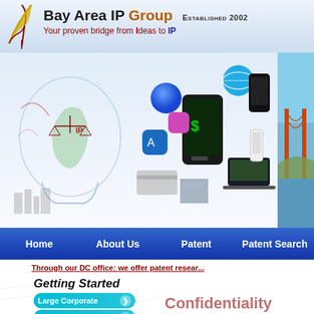[Figure (logo): Bay Area IP Group logo with quill/pen icon in gold and red]
Bay Area IP Group  ESTABLISHED 2002
Your proven bridge from Ideas to IP
[Figure (illustration): Banner with lightbulb illustration containing California map and scales of justice on left, smartphone/tech devices collage in center, Golden Gate Bridge photo on right]
Home   About Us   Patent   Patent Search
Through our DC office: we offer patent resear...
Getting Started
Large Corporate
Small Entities
Confidentiality